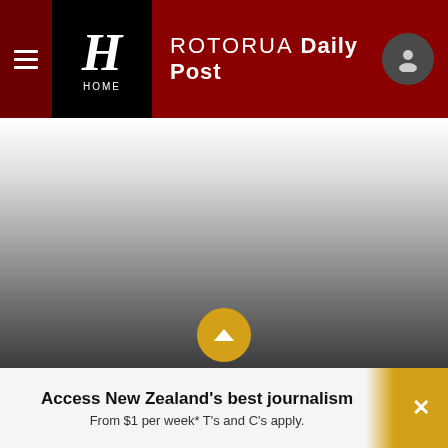ROTORUA Daily Post
[Figure (screenshot): Gradient area representing blurred/loading content background, transitioning from white at top to dark grey at bottom]
Access New Zealand's best journalism From $1 per week* T's and C's apply.